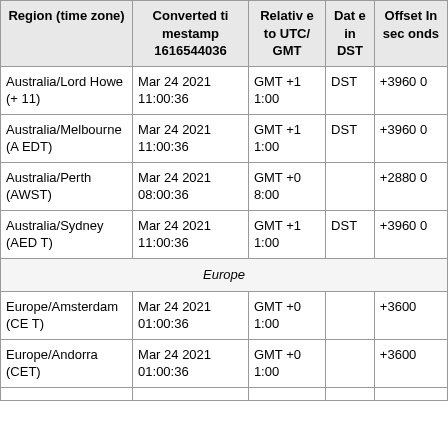| Region (time zone) | Converted timestamp 1616544036 | Relative to UTC/GMT | Date in DST | Offset In seconds |
| --- | --- | --- | --- | --- |
| Australia/Lord Howe (+ 11) | Mar 24 2021 11:00:36 | GMT +11:00 | DST | +39600 |
| Australia/Melbourne (AEDT) | Mar 24 2021 11:00:36 | GMT +11:00 | DST | +39600 |
| Australia/Perth (AWST) | Mar 24 2021 08:00:36 | GMT +08:00 |  | +28800 |
| Australia/Sydney (AEDT) | Mar 24 2021 11:00:36 | GMT +11:00 | DST | +39600 |
| Europe |  |  |  |  |
| Europe/Amsterdam (CET) | Mar 24 2021 01:00:36 | GMT +01:00 |  | +3600 |
| Europe/Andorra (CET) | Mar 24 2021 01:00:36 | GMT +01:00 |  | +3600 |